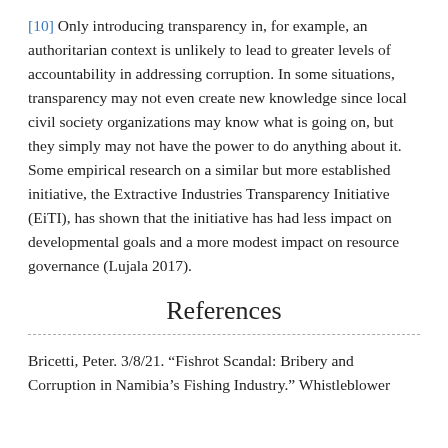[10] Only introducing transparency in, for example, an authoritarian context is unlikely to lead to greater levels of accountability in addressing corruption. In some situations, transparency may not even create new knowledge since local civil society organizations may know what is going on, but they simply may not have the power to do anything about it. Some empirical research on a similar but more established initiative, the Extractive Industries Transparency Initiative (EiTI), has shown that the initiative has had less impact on developmental goals and a more modest impact on resource governance (Lujala 2017).
References
Bricetti, Peter. 3/8/21. “Fishrot Scandal: Bribery and Corruption in Namibia’s Fishing Industry.” Whistleblower